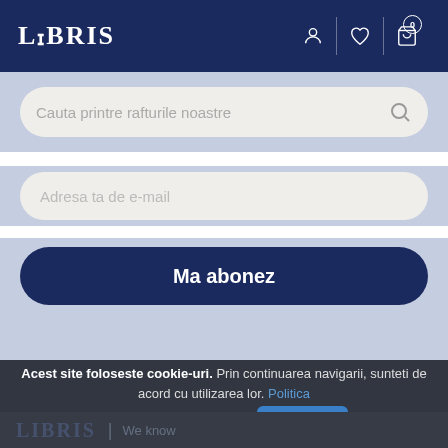LIBRIS
[Figure (screenshot): Search bar with placeholder text 'Cauta printre rafturile noastre' and a search icon]
[Figure (screenshot): Email input field with placeholder 'Adresa ta de e-mail']
[Figure (screenshot): Subscribe button labeled 'Ma abonez']
Acest site foloseste cookie-uri. Prin continuarea navigarii, sunteti de acord cu utilizarea lor. Politica Cookie. Protectia Datelor.
[Figure (screenshot): Accept button labeled 'Accepta']
LIBRIS | We know